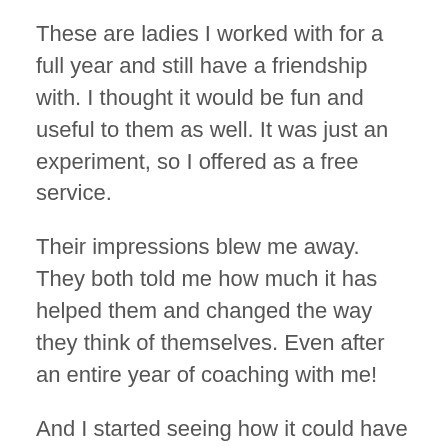These are ladies I worked with for a full year and still have a friendship with. I thought it would be fun and useful to them as well. It was just an experiment, so I offered as a free service.
Their impressions blew me away. They both told me how much it has helped them and changed the way they think of themselves. Even after an entire year of coaching with me!
And I started seeing how it could have really supported my coaching with them, if I had known these details from the beginning. Basically, it would help me understand how to approach coaching,